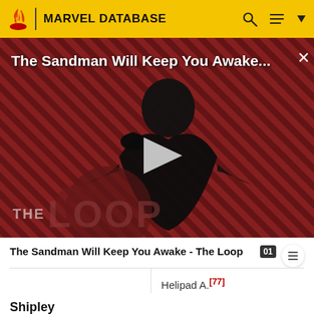MARVEL DATABASE
[Figure (screenshot): Video thumbnail for 'The Sandman Will Keep You Awake - The Loop' showing a dark-caped figure with a raven against a diagonal striped red-brown background, with a play button overlay and 'THE LOOP' text branding.]
The Sandman Will Keep You Awake - The Loop
|  | Helipad A.[77] |
Shipley